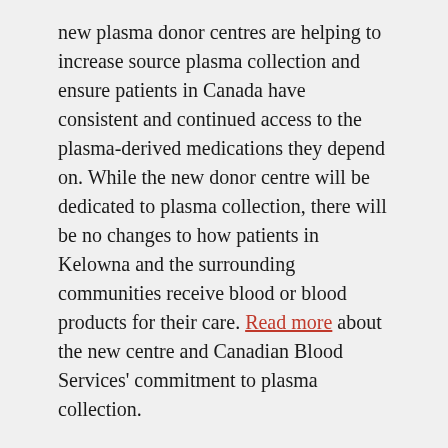new plasma donor centres are helping to increase source plasma collection and ensure patients in Canada have consistent and continued access to the plasma-derived medications they depend on. While the new donor centre will be dedicated to plasma collection, there will be no changes to how patients in Kelowna and the surrounding communities receive blood or blood products for their care. Read more about the new centre and Canadian Blood Services' commitment to plasma collection.
Share your feedback on health and safety in the workplace
COVID-19 has presented many new and unexpected challenges for our organization, but one thing that hasn't changed throughout the pandemic is our unwavering commitment to the health and safety of